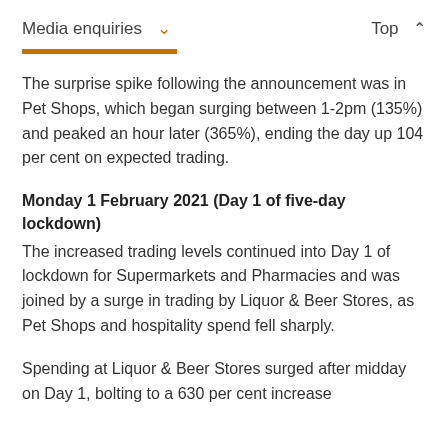Media enquiries  ∨       Top ∧
The surprise spike following the announcement was in Pet Shops, which began surging between 1-2pm (135%) and peaked an hour later (365%), ending the day up 104 per cent on expected trading.
Monday 1 February 2021 (Day 1 of five-day lockdown)
The increased trading levels continued into Day 1 of lockdown for Supermarkets and Pharmacies and was joined by a surge in trading by Liquor & Beer Stores, as Pet Shops and hospitality spend fell sharply.
Spending at Liquor & Beer Stores surged after midday on Day 1, bolting to a 630 per cent increase